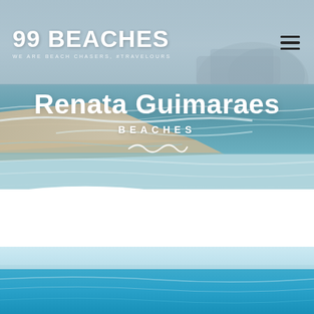[Figure (screenshot): Aerial beach photograph with ocean waves, sandy shore, and flat-topped mountain in background under misty sky — hero banner image for 99 Beaches website]
99 BEACHES — WE ARE BEACH CHASERS, #TRAVELOURS
Renata Guimaraes
BEACHES
[Figure (photo): Bottom strip photo showing bright blue ocean water and clear sky — partial view of beach scene]